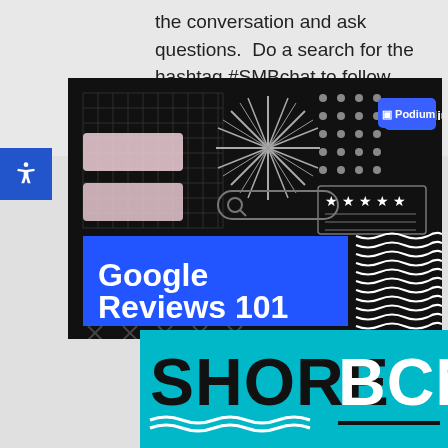the conversation and ask questions.  Do a search for the hashtag #SMBchat to follow what others are saying.  When you
[Figure (infographic): Podium Google Reviews 101 promotional banner on dark/black background with decorative elements: grid, starburst, dots, search bar, star rating box, wavy lines. Blue rectangle contains bold white text 'Google Reviews 101'. Top right has blue Podium logo badge.]
[Figure (logo): SHORE BCN logo on teal/cyan background. 'SHORE' in black bold, 'BCN' in white bold. Wavy white underline beneath SHORE and black horizontal line beneath BCN.]